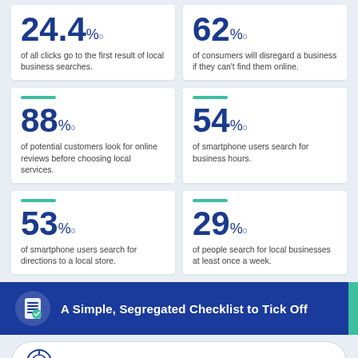[Figure (infographic): Six statistic cards: 24.4% of all clicks go to the first result of local business searches; 62% of consumers will disregard a business if they can't find them online; 88% of potential customers look for online reviews before choosing local services; 54% of smartphone users search for business hours; 53% of smartphone users search for directions to a local store; 29% of people search for local businesses at least once a week.]
A Simple, Segregated Checklist to Tick Off
Google My Business Checklist